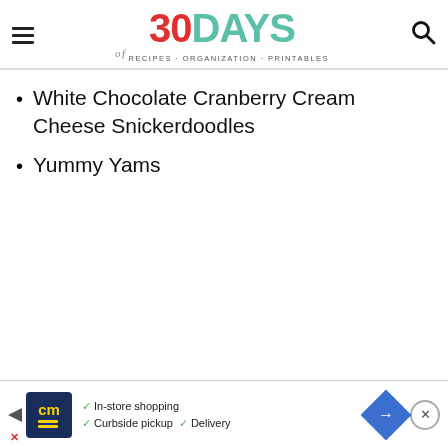30DAYS of RECIPES · ORGANIZATION · PRINTABLES
White Chocolate Cranberry Cream Cheese Snickerdoodles
Yummy Yams
[Figure (other): Advertisement banner for CM (Curbside Market) with logo, checkmarks: In-store shopping, Curbside pickup, Delivery, navigation arrow icon, and close button]